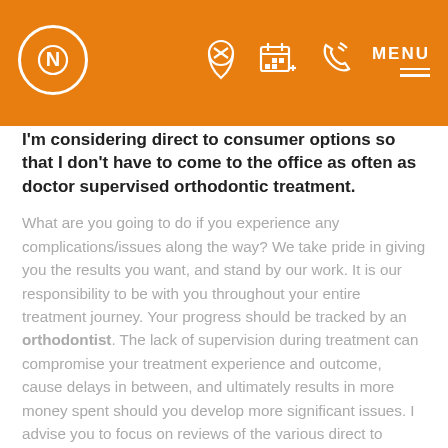N [logo] | location icon | calendar icon | phone icon | MENU
I'm considering direct to consumer options so that I don't have to come to the office as often as doctor supervised orthodontic treatment.
What are you going to do if you experience any complications/issues along the way? We take pride in giving you the results you want, and stand by our work. It is our responsibility to be with you throughout your entire treatment journey. Your progress should be tracked by an orthodontist. The lack of supervision during treatment can compromise your treatment experience and outcome, cause delays in between, and ultimately results in more money spent should you develop more significant issues. I advise you to focus on reviews of the various direct to